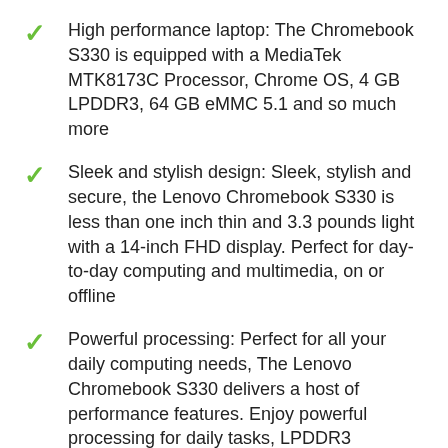High performance laptop: The Chromebook S330 is equipped with a MediaTek MTK8173C Processor, Chrome OS, 4 GB LPDDR3, 64 GB eMMC 5.1 and so much more
Sleek and stylish design: Sleek, stylish and secure, the Lenovo Chromebook S330 is less than one inch thin and 3.3 pounds light with a 14-inch FHD display. Perfect for day-to-day computing and multimedia, on or offline
Powerful processing: Perfect for all your daily computing needs, The Lenovo Chromebook S330 delivers a host of performance features. Enjoy powerful processing for daily tasks, LPDDR3 memory for multitasking, eMMC storage for quick boot-ups, fast software loading and additional 100 GB